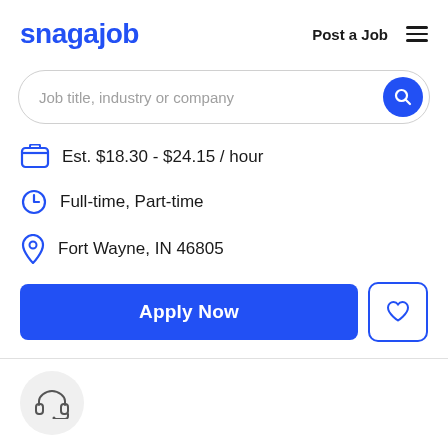snagajob  Post a Job ☰
Job title, industry or company
Est. $18.30 - $24.15 / hour
Full-time, Part-time
Fort Wayne, IN 46805
Apply Now
[Figure (other): Headset / customer service icon in a light gray circle at the bottom of the page]